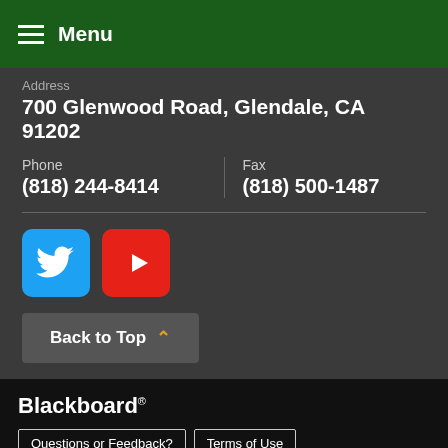Menu
Address
700 Glenwood Road, Glendale, CA 91202
Phone
(818) 244-8414
Fax
(818) 500-1487
[Figure (logo): Twitter bird logo icon on blue square background]
[Figure (logo): YouTube play button icon on red square background]
Back to Top
Blackboard
Questions or Feedback?
Terms of Use
Blackboard Web Community Manager Privacy Policy (Updated)
View Full Site